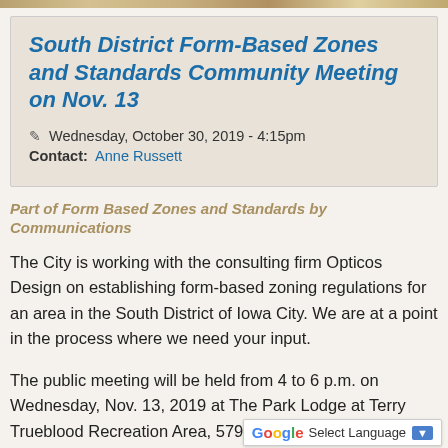South District Form-Based Zones and Standards Community Meeting on Nov. 13
Wednesday, October 30, 2019 - 4:15pm
Contact: Anne Russett
Part of Form Based Zones and Standards by Communications
The City is working with the consulting firm Opticos Design on establishing form-based zoning regulations for an area in the South District of Iowa City. We are at a point in the process where we need your input.
The public meeting will be held from 4 to 6 p.m. on Wednesday, Nov. 13, 2019 at The Park Lodge at Terry Trueblood Recreation Area, 579 McCollister Blvd.
The tentative agenda will include a